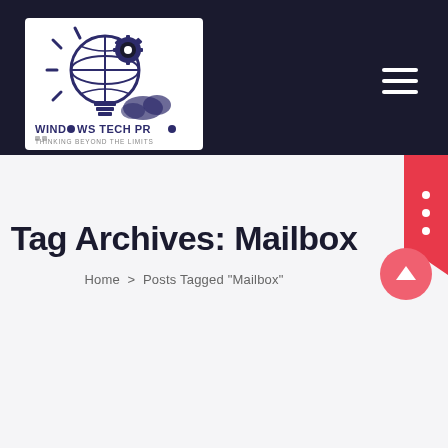[Figure (logo): Windows Tech Pro logo — globe with gear and lightbulb graphic, text 'WINDOWS TECH PRO THINKING BEYOND THE LIMITS']
Tag Archives: Mailbox
Home > Posts Tagged "Mailbox"